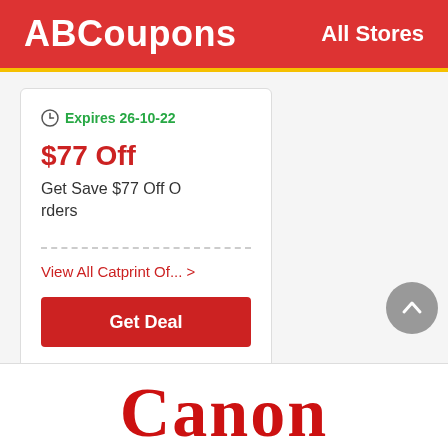ABCoupons   All Stores
Expires 26-10-22
$77 Off
Get Save $77 Off Orders
View All Catprint Of... >
Get Deal
[Figure (logo): Canon brand logo in red serif font, partially cropped at bottom of page]